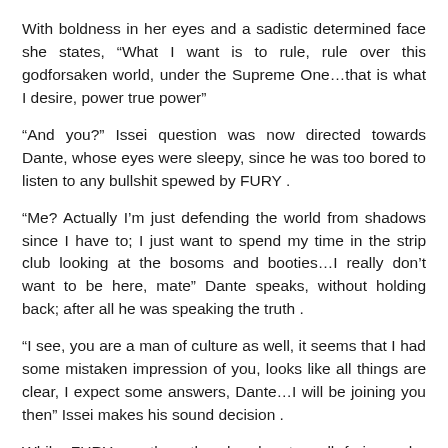With boldness in her eyes and a sadistic determined face she states, “What I want is to rule, rule over this godforsaken world, under the Supreme One…that is what I desire, power true power”
“And you?” Issei question was now directed towards Dante, whose eyes were sleepy, since he was too bored to listen to any bullshit spewed by FURY .
“Me? Actually I’m just defending the world from shadows since I have to; I just want to spend my time in the strip club looking at the bosoms and booties…I really don’t want to be here, mate” Dante speaks, without holding back; after all he was speaking the truth .
“I see, you are a man of culture as well, it seems that I had some mistaken impression of you, looks like all things are clear, I expect some answers, Dante…I will be joining you then” Issei makes his sound decision .
While FURY on the other hand got, well furious she wanted